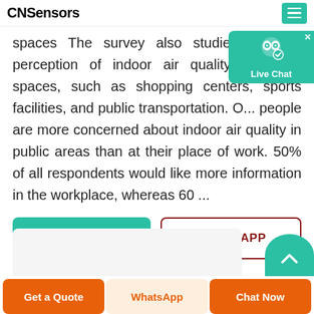CNSensors
spaces The survey also studied people's perception of indoor air quality in public spaces, such as shopping centers, sports facilities, and public transportation. O... people are more concerned about indoor air quality in public areas than at their place of work. 50% of all respondents would like more information in the workplace, whereas 60 ...
[Figure (screenshot): GET PRICE button (teal/green) and WHATSAPP button (white with dark red border and text)]
[Figure (screenshot): Bottom preview card area and teal circle with upward chevron]
[Figure (screenshot): Bottom CTA bar with three buttons: Get a Quote (orange), WhatsApp (light peach with orange text), Chat Now (orange)]